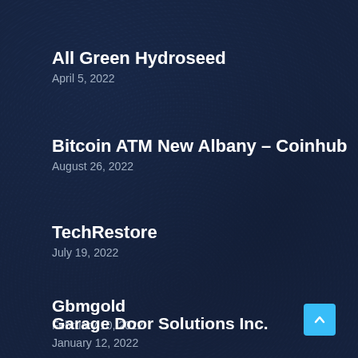All Green Hydroseed
April 5, 2022
Bitcoin ATM New Albany – Coinhub
August 26, 2022
TechRestore
July 19, 2022
Gbmgold
February 10, 2022
Garage Door Solutions Inc.
January 12, 2022